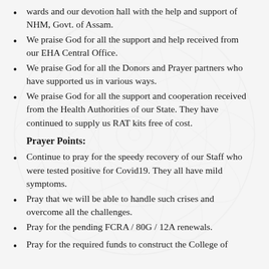wards and our devotion hall with the help and support of NHM, Govt. of Assam.
We praise God for all the support and help received from our EHA Central Office.
We praise God for all the Donors and Prayer partners who have supported us in various ways.
We praise God for all the support and cooperation received from the Health Authorities of our State. They have continued to supply us RAT kits free of cost.
Prayer Points:
Continue to pray for the speedy recovery of our Staff who were tested positive for Covid19. They all have mild symptoms.
Pray that we will be able to handle such crises and overcome all the challenges.
Pray for the pending FCRA / 80G / 12A renewals.
Pray for the required funds to construct the College of